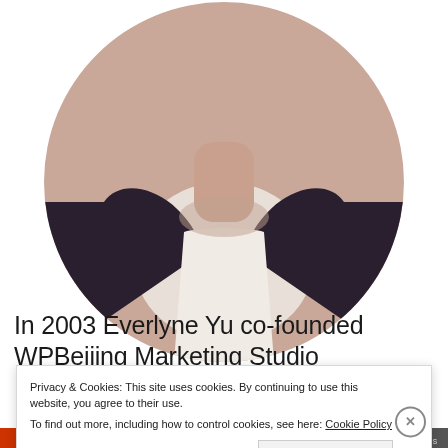[Figure (photo): Circular cropped profile photo showing a person's neck and upper torso wearing a white shirt under a dark jacket, with light skin tone visible.]
In 2003 Everlyne Yu co-founded WPBeijing Marketing Studio
Privacy & Cookies: This site uses cookies. By continuing to use this website, you agree to their use. To find out more, including how to control cookies, see here: Cookie Policy
Close and accept